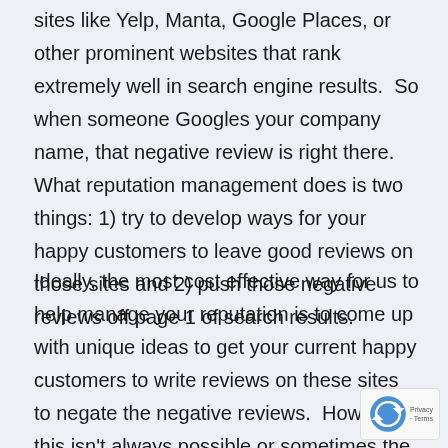sites like Yelp, Manta, Google Places, or other prominent websites that rank extremely well in search engine results.  So when someone Googles your company name, that negative review is right there.  What reputation management does is two things: 1) try to develop ways for your happy customers to leave good reviews on those sites and 2) push those negative reviews off page 1 of search results.
Ideally, the most cost effective way for us to help manage your reputation is to come up with unique ideas to get your current happy customers to write reviews on these sites to negate the negative reviews.  However this isn't always possible or sometimes the negative review shows up on a site that doesn't allow reviews or is one person's opinion.